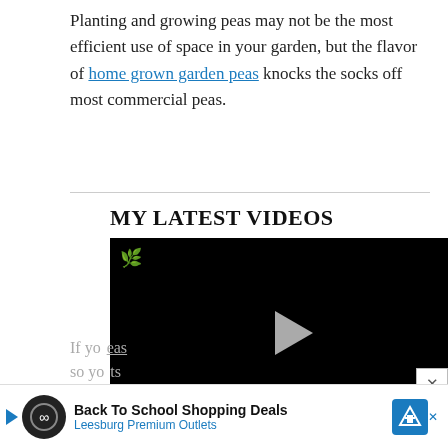Planting and growing peas may not be the most efficient use of space in your garden, but the flavor of home grown garden peas knocks the socks off most commercial peas.
MY LATEST VIDEOS
[Figure (screenshot): Black video player with a plant logo in the top-left and a play button in the center]
If you ... peas so yo... ts
[Figure (infographic): Advertisement banner: Back To School Shopping Deals - Leesburg Premium Outlets]